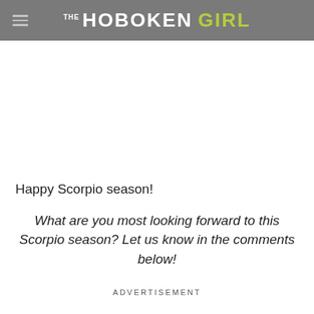THE HOBOKEN GIRL
Happy Scorpio season!
What are you most looking forward to this Scorpio season? Let us know in the comments below!
ADVERTISEMENT